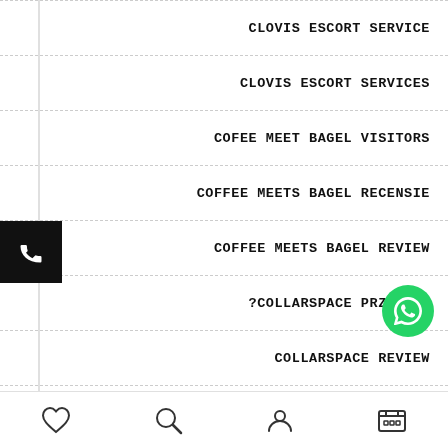CLOVIS ESCORT SERVICE
CLOVIS ESCORT SERVICES
COFEE MEET BAGEL VISITORS
COFFEE MEETS BAGEL RECENSIE
COFFEE MEETS BAGEL REVIEW
?COLLARSPACE PRZEJRZE
COLLARSPACE REVIEW
COLLEGE DATING ADUL